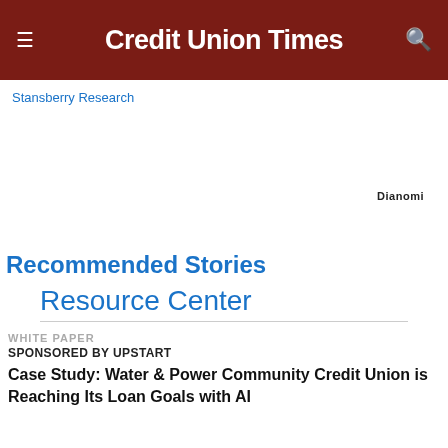Credit Union Times
Stansberry Research
Dianomi
Recommended Stories
Resource Center
WHITE PAPER
SPONSORED BY UPSTART
Case Study: Water & Power Community Credit Union is Reaching Its Loan Goals with AI